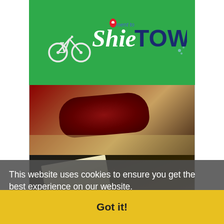[Figure (logo): ShieTOWN logo with bicycle icon and location pin on green background. Stylized text reading 'Shie TOWN' with 'ment to' in smaller text above.]
[Figure (photo): Photo collage showing hotel room items: a red/dark decorative pillow on a bed (top), and a book/document next to a laptop keyboard with a hotel room phone (bottom).]
This website uses cookies to ensure you get the best experience on our website.
Learn more
Got it!
MANILA HOTEL is an icon in the